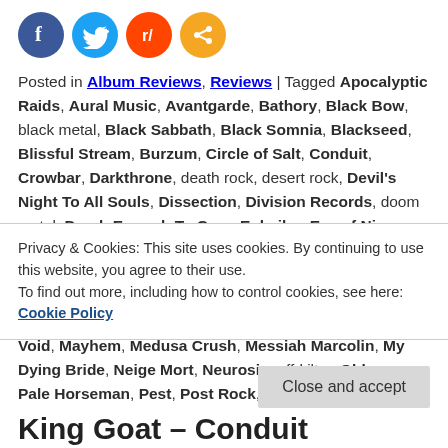[Figure (other): Social media share icons: Facebook (blue), Twitter (light blue), Reddit (orange-red), Share (orange)]
Posted in Album Reviews, Reviews | Tagged Apocalyptic Raids, Aural Music, Avantgarde, Bathory, Black Bow, black metal, Black Sabbath, Black Somnia, Blackseed, Blissful Stream, Burzum, Circle of Salt, Conduit, Crowbar, Darkthrone, death rock, desert rock, Devil's Night To All Souls, Dissection, Division Records, doom metal, Dumb Enough To Care, Enhailer, Eye of Nix, Fanch, folk rock, Ghost Cult, Ghost Cult Magazine, Godless Summit, Gojira, Groove Metal, Grunge, Hawkmoth, Helmet, Independent release, Joy Von Spain, King Goat, Kyuss, Lightsabres, Maikan, Matter & Void, Mayhem, Medusa Crush, Messiah Marcolin, My Dying Bride, Neige Mort, Neurosis, off-kilter, Ohhms, Pale Horseman, Pest, Post Rock, post-
Privacy & Cookies: This site uses cookies. By continuing to use this website, you agree to their use.
To find out more, including how to control cookies, see here: Cookie Policy
Close and accept
King Goat – Conduit